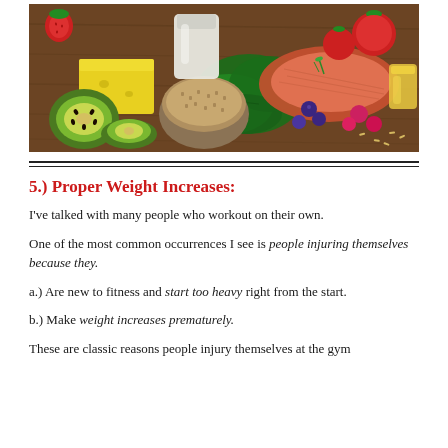[Figure (photo): Overhead photo of healthy foods on a wooden surface: kiwi, yellow cheese block, bowl of buckwheat/grains, spinach leaves, salmon fillet, tomatoes, strawberries, blueberries, oil, and other fruits and vegetables.]
5.) Proper Weight Increases:
I've talked with many people who workout on their own.
One of the most common occurrences I see is people injuring themselves because they.
a.) Are new to fitness and start too heavy right from the start.
b.) Make weight increases prematurely.
These are classic reasons people injury themselves at the gym